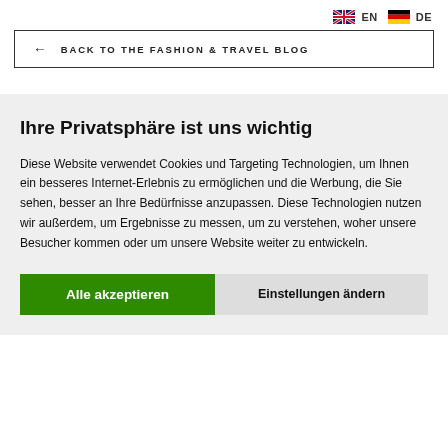[Figure (other): Language switcher with UK flag icon labeled EN and German flag icon labeled DE]
← BACK TO THE FASHION & TRAVEL BLOG
Ihre Privatsphäre ist uns wichtig
Diese Website verwendet Cookies und Targeting Technologien, um Ihnen ein besseres Internet-Erlebnis zu ermöglichen und die Werbung, die Sie sehen, besser an Ihre Bedürfnisse anzupassen. Diese Technologien nutzen wir außerdem, um Ergebnisse zu messen, um zu verstehen, woher unsere Besucher kommen oder um unsere Website weiter zu entwickeln.
Alle akzeptieren
Einstellungen ändern